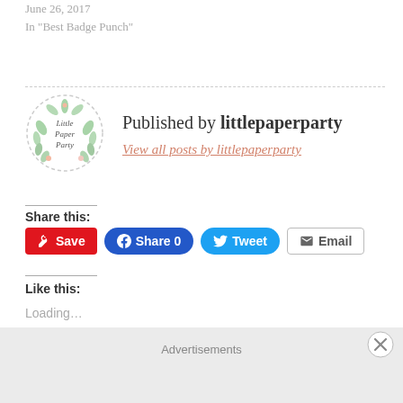June 26, 2017
In "Best Badge Punch"
Published by littlepaperparty
View all posts by littlepaperparty
Share this:
Save  Share 0  Tweet  Email
Like this:
Loading...
Advertisements